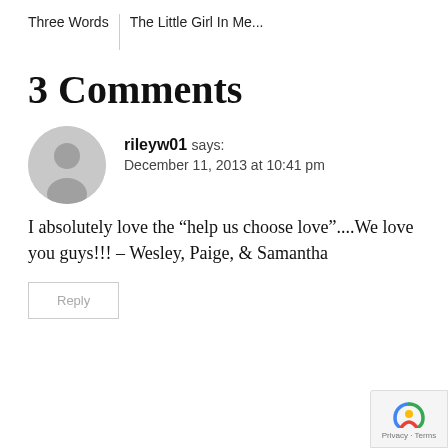Three Words    The Little Girl In Me...
3 Comments
[Figure (illustration): Gray circular avatar icon with silhouette of a person]
rileyw01 says:
December 11, 2013 at 10:41 pm
I absolutely love the “help us choose love”....We love you guys!!! – Wesley, Paige, & Samantha
Reply
[Figure (logo): reCAPTCHA badge with Privacy and Terms links]